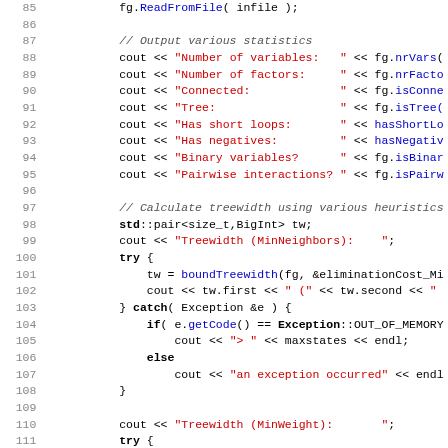[Figure (screenshot): Source code listing in C++ with line numbers 85-116, showing code that reads a factor graph from file, outputs various statistics, and calculates treewidth using various heuristics. Syntax highlighted: red for string literals, blue for function/variable names, black bold for keywords.]